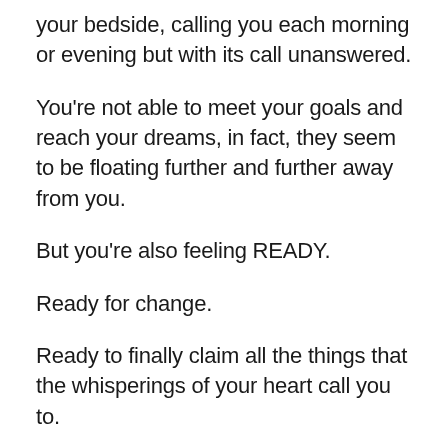your bedside, calling you each morning or evening but with its call unanswered.
You're not able to meet your goals and reach your dreams, in fact, they seem to be floating further and further away from you.
But you're also feeling READY.
Ready for change.
Ready to finally claim all the things that the whisperings of your heart call you to.
You want to set your heart down on paper – boldly, unapologetically and with love.